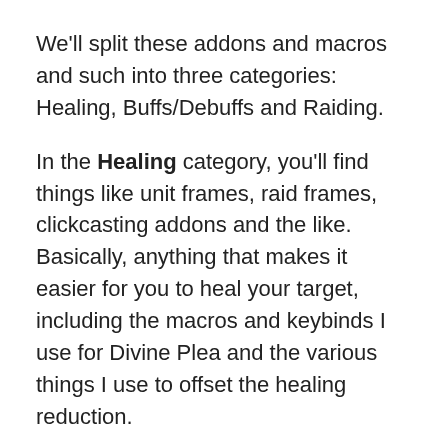We'll split these addons and macros and such into three categories: Healing, Buffs/Debuffs and Raiding.
In the Healing category, you'll find things like unit frames, raid frames, clickcasting addons and the like. Basically, anything that makes it easier for you to heal your target, including the macros and keybinds I use for Divine Plea and the various things I use to offset the healing reduction.
In the Buffs/Debuffs category, you'll find things that will help you keep your buffs up, including macros for things like Divine Shield/Divine Sacrifice and Aura Mastery, as well as ways to help notify you of various buffs or debuffs on